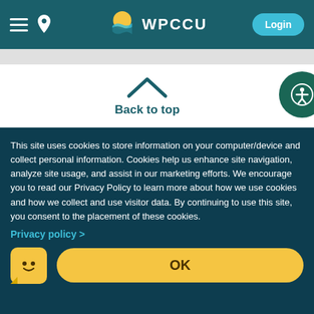[Figure (screenshot): WPCCU website header navigation bar with hamburger menu, location pin icon, WPCCU logo with sun/wave icon, and Login button on teal background]
Back to top
This site uses cookies to store information on your computer/device and collect personal information. Cookies help us enhance site navigation, analyze site usage, and assist in our marketing efforts. We encourage you to read our Privacy Policy to learn more about how we use cookies and how we collect and use visitor data. By continuing to use this site, you consent to the placement of these cookies.
Privacy policy >
OK